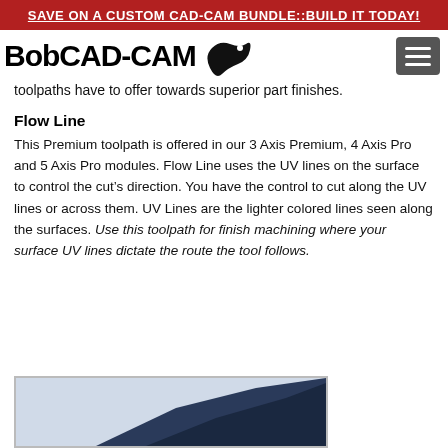SAVE ON A CUSTOM CAD-CAM BUNDLE::BUILD IT TODAY!
[Figure (logo): BobCAD-CAM logo with bird icon and hamburger menu button]
toolpaths have to offer towards superior part finishes.
Flow Line
This Premium toolpath is offered in our 3 Axis Premium, 4 Axis Pro and 5 Axis Pro modules. Flow Line uses the UV lines on the surface to control the cut’s direction. You have the control to cut along the UV lines or across them. UV Lines are the lighter colored lines seen along the surfaces. Use this toolpath for finish machining where your surface UV lines dictate the route the tool follows.
[Figure (screenshot): Partial image of a CAD-CAM surface toolpath visualization, dark blue surface]